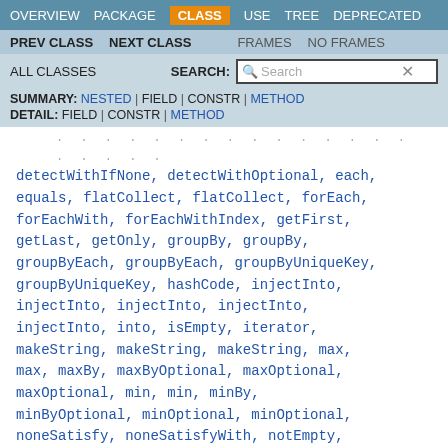OVERVIEW  PACKAGE  CLASS  USE  TREE  DEPRECATED
PREV CLASS  NEXT CLASS  FRAMES  NO FRAMES
ALL CLASSES  SEARCH:
SUMMARY: NESTED | FIELD | CONSTR | METHOD  DETAIL: FIELD | CONSTR | METHOD
detectWithIfNone, detectWithOptional, each, equals, flatCollect, flatCollect, forEach, forEachWith, forEachWithIndex, getFirst, getLast, getOnly, groupBy, groupBy, groupByEach, groupByEach, groupByUniqueKey, groupByUniqueKey, hashCode, injectInto, injectInto, injectInto, injectInto, injectInto, into, isEmpty, iterator, makeString, makeString, makeString, max, max, maxBy, maxByOptional, maxOptional, maxOptional, min, min, minBy, minByOptional, minOptional, minOptional, noneSatisfy, noneSatisfyWith, notEmpty, partition, partitionWith, reject, reject, rejectWith, rejectWith, select, select, selectInstancesOf, selectWith, selectWith,